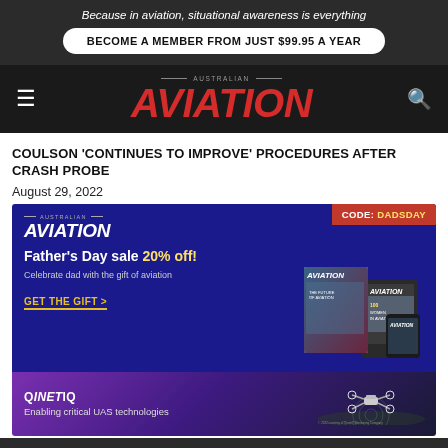Because in aviation, situational awareness is everything
BECOME A MEMBER FROM JUST $99.95 A YEAR
AUSTRALIAN AVIATION
COULSON 'CONTINUES TO IMPROVE' PROCEDURES AFTER CRASH PROBE
August 29, 2022
[Figure (infographic): Australian Aviation Father's Day sale advertisement with 20% off promotion code DADSDAY, blue background with aviation magazine images]
[Figure (infographic): QinetiQ - Enabling critical UAS technologies advertisement with purple gradient background and drone imagery]
AUST